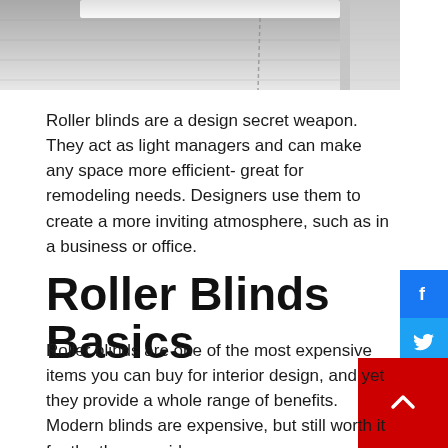[Figure (photo): Photo of gray roller blinds on a window, showing the rolled-up portion at the top with a beaded cord hanging down.]
Roller blinds are a design secret weapon. They act as light managers and can make any space more efficient- great for remodeling needs. Designers use them to create a more inviting atmosphere, such as in a business or office.
Roller Blinds Basics
Roller blinds are one of the most expensive items you can buy for interior design, and yet they provide a whole range of benefits. Modern blinds are expensive, but still worth it for the they provide: